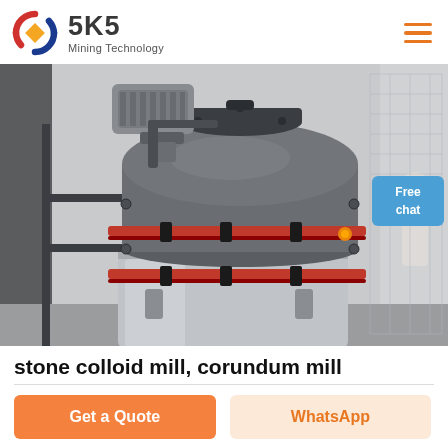SKS Mining Technology
[Figure (photo): Industrial stone colloid mill / corundum mill machine. Large grey cylindrical drum with red horizontal banding straps, a motor mounted on top, and chrome lower section. Free chat button overlay in blue.]
stone colloid mill, corundum mill
Get a Quote
WhatsApp